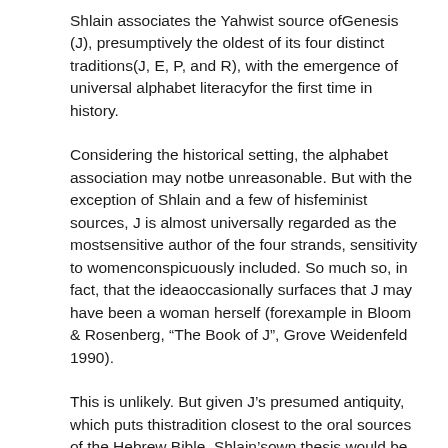Shlain associates the Yahwist source ofGenesis (J), presumptively the oldest of its four distinct traditions(J, E, P, and R), with the emergence of universal alphabet literacyfor the first time in history.
Considering the historical setting, the alphabet association may notbe unreasonable. But with the exception of Shlain and a few of hisfeminist sources, J is almost universally regarded as the mostsensitive author of the four strands, sensitivity to womenconspicuously included. So much so, in fact, that the ideaoccasionally surfaces that J may have been a woman herself (forexample in Bloom & Rosenberg, “The Book of J”, Grove Weidenfeld 1990).
This is unlikely. But given J’s presumed antiquity, which puts thistradition closest to the oral sources of the Hebrew Bible, Shlain’sown thesis would be quite compatible with the sensitivity towardwomen that many interpreters have seen in J. Shlain’s insistence onJ’s misogyny is therefore difficult to understand.
Feminist theologians are themselves divided over the interpretationof the Adam and Eve story. Rosemary